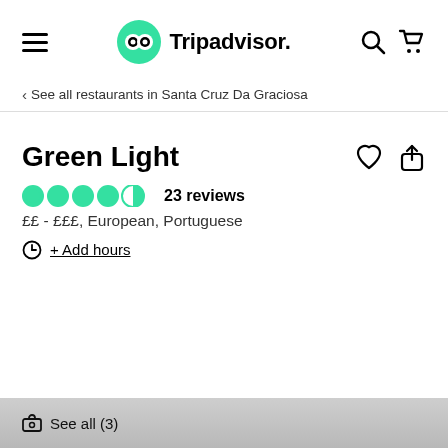Tripadvisor navigation bar with hamburger menu, Tripadvisor logo, search and cart icons
< See all restaurants in Santa Cruz Da Graciosa
Green Light
23 reviews
££ - £££, European, Portuguese
+ Add hours
See all (3)